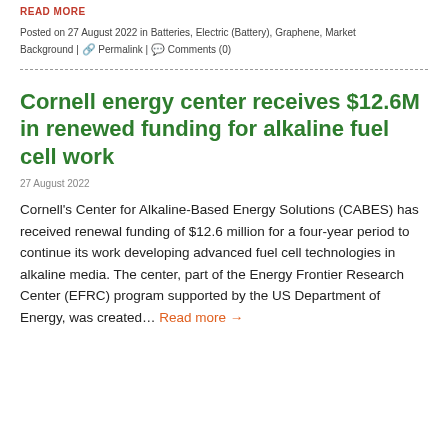READ MORE
Posted on 27 August 2022 in Batteries, Electric (Battery), Graphene, Market Background | Permalink | Comments (0)
Cornell energy center receives $12.6M in renewed funding for alkaline fuel cell work
27 August 2022
Cornell's Center for Alkaline-Based Energy Solutions (CABES) has received renewal funding of $12.6 million for a four-year period to continue its work developing advanced fuel cell technologies in alkaline media. The center, part of the Energy Frontier Research Center (EFRC) program supported by the US Department of Energy, was created... Read more →